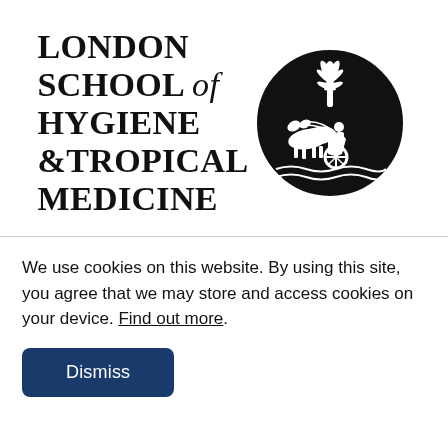[Figure (logo): London School of Hygiene & Tropical Medicine logo with institutional seal showing a horse-drawn chariot with palm tree, in a circular black emblem]
We use cookies on this website. By using this site, you agree that we may store and access cookies on your device. Find out more.
Dismiss